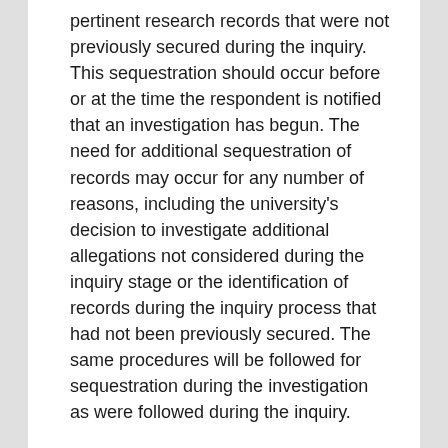pertinent research records that were not previously secured during the inquiry. This sequestration should occur before or at the time the respondent is notified that an investigation has begun. The need for additional sequestration of records may occur for any number of reasons, including the university's decision to investigate additional allegations not considered during the inquiry stage or the identification of records during the inquiry process that had not been previously secured. The same procedures will be followed for sequestration during the investigation as were followed during the inquiry.
C.   Appointment of the Investigation Committee
The RIO, in consultation with other university officials as appropriate, will promptly appoint an investigation